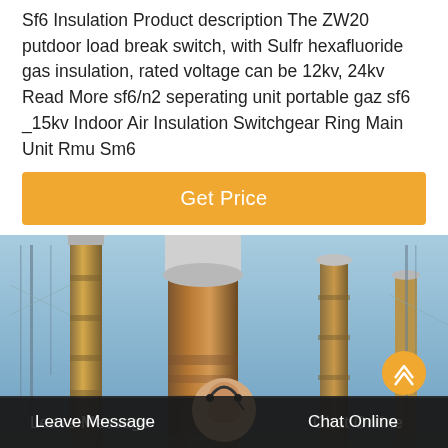Sf6 Insulation Product description The ZW20 putdoor load break switch, with Sulfr hexafluoride gas insulation, rated voltage can be 12kv, 24kv Read More sf6/n2 seperating unit portable gaz sf6 _15kv Indoor Air Insulation Switchgear Ring Main Unit Rmu Sm6
[Figure (other): Orange button labeled 'Get Price']
[Figure (photo): Outdoor electrical substation with tall cylindrical high-voltage insulators/bushings against a blue sky, viewed from below. A customer service chat avatar appears at the bottom center.]
Leave Message    Chat Online